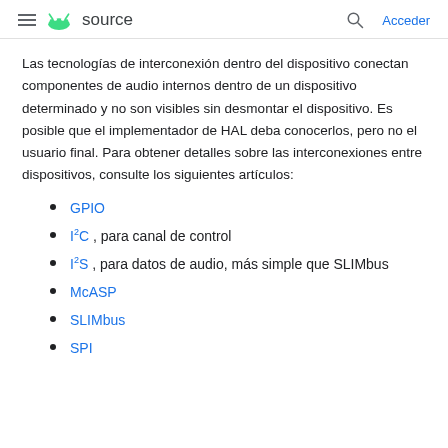≡ 🤖 source   🔍 Acceder
Las tecnologías de interconexión dentro del dispositivo conectan componentes de audio internos dentro de un dispositivo determinado y no son visibles sin desmontar el dispositivo. Es posible que el implementador de HAL deba conocerlos, pero no el usuario final. Para obtener detalles sobre las interconexiones entre dispositivos, consulte los siguientes artículos:
GPIO
I²C , para canal de control
I²S , para datos de audio, más simple que SLIMbus
McASP
SLIMbus
SPI